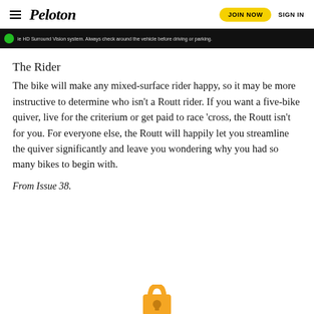Peloton | JOIN NOW | SIGN IN
[Figure (screenshot): Dark video strip with green circle icon and text: 'ie HD Surround Vision system. Always check around the vehicle before driving or parking.']
The Rider
The bike will make any mixed-surface rider happy, so it may be more instructive to determine who isn’t a Routt rider. If you want a five-bike quiver, live for the criterium or get paid to race ‘cross, the Routt isn’t for you. For everyone else, the Routt will happily let you streamline the quiver significantly and leave you wondering why you had so many bikes to begin with.
From Issue 38.
[Figure (illustration): Partial padlock icon at bottom center of page]